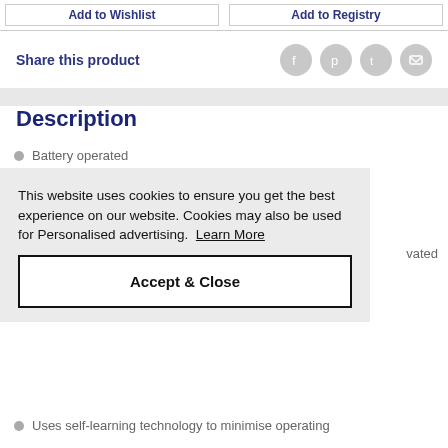Add to Wishlist | Add to Registry
Share this product
Description
Battery operated
This website uses cookies to ensure you get the best experience on our website. Cookies may also be used for Personalised advertising. Learn More
Accept & Close
vated
Uses self-learning technology to minimise operating